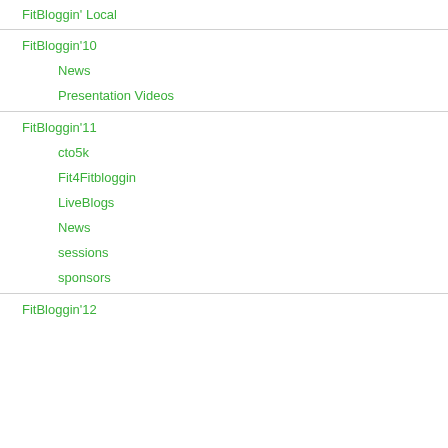FitBloggin' Local
FitBloggin'10
News
Presentation Videos
FitBloggin'11
cto5k
Fit4Fitbloggin
LiveBlogs
News
sessions
sponsors
FitBloggin'12